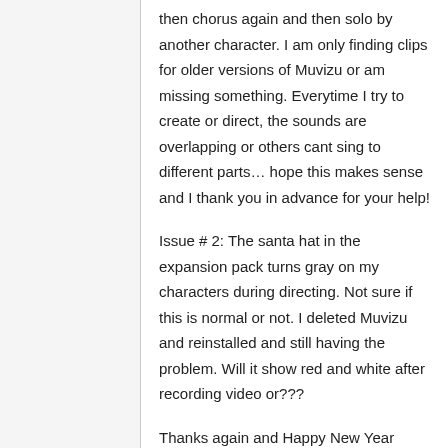then chorus again and then solo by another character. I am only finding clips for older versions of Muvizu or am missing something. Everytime I try to create or direct, the sounds are overlapping or others cant sing to different parts... hope this makes sense and I thank you in advance for your help!
Issue # 2: The santa hat in the expansion pack turns gray on my characters during directing. Not sure if this is normal or not. I deleted Muvizu and reinstalled and still having the problem. Will it show red and white after recording video or???
Thanks again and Happy New Year Everyone!!!!!
2015/4/5
0:19:04